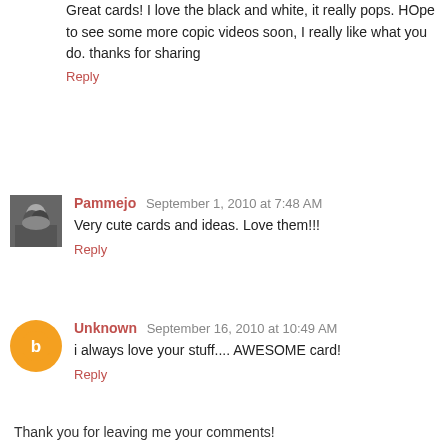Great cards! I love the black and white, it really pops. HOpe to see some more copic videos soon, I really like what you do. thanks for sharing
Reply
Pammejo September 1, 2010 at 7:48 AM
Very cute cards and ideas. Love them!!!
Reply
Unknown September 16, 2010 at 10:49 AM
i always love your stuff.... AWESOME card!
Reply
Thank you for leaving me your comments!